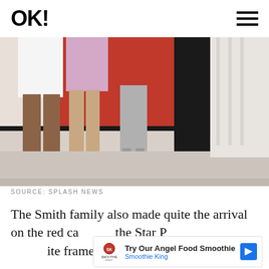OK!
[Figure (photo): Close-up of legs and feet of multiple people standing on a white carpet in front of a red background. Women in heels and a man in black dress shoes visible.]
SOURCE: SPLASH NEWS
The Smith family also made quite the arrival on the red ca[rpet at] the Star P[remiere. Despite her pet]ite frame [...]
[Figure (other): Advertisement banner: Try Our Angel Food Smoothie - Smoothie King]